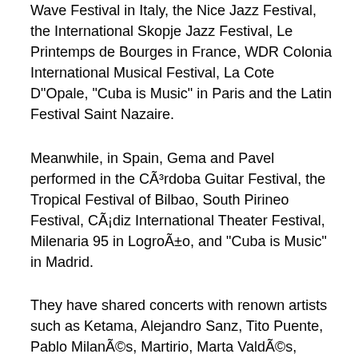Wave Festival in Italy, the Nice Jazz Festival, the International Skopje Jazz Festival, Le Printemps de Bourges in France, WDR Colonia International Musical Festival, La Cote D"Opale, "Cuba is Music" in Paris and the Latin Festival Saint Nazaire.
Meanwhile, in Spain, Gema and Pavel performed in the CÃ³rdoba Guitar Festival, the Tropical Festival of Bilbao, South Pirineo Festival, CÃ¡diz International Theater Festival, Milenaria 95 in LogroÃ±o, and "Cuba is Music" in Madrid.
They have shared concerts with renown artists such as Ketama, Alejandro Sanz, Tito Puente, Pablo MilanÃ©s, Martirio, Marta ValdÃ©s, Carlos Cano, Pedro Guerra and Javier Ruibal, among many others.
In 2003 Gema & Pavel return with their fourth album, the double CD "Mat RamÃ³l" in which they...